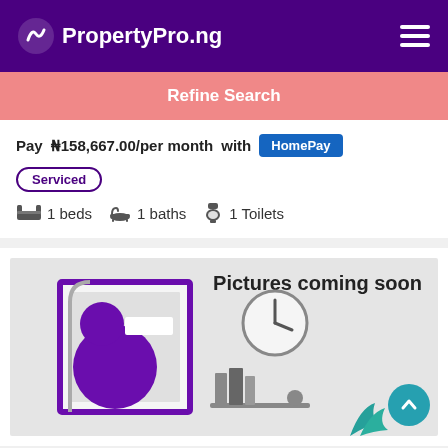PropertyPro.ng
Refine Search
Pay ₦158,667.00/per month with HomePay
Serviced
1 beds  1 baths  1 Toilets
[Figure (illustration): Pictures coming soon placeholder illustration with a framed artwork, clock, books, and plant icons on a grey background]